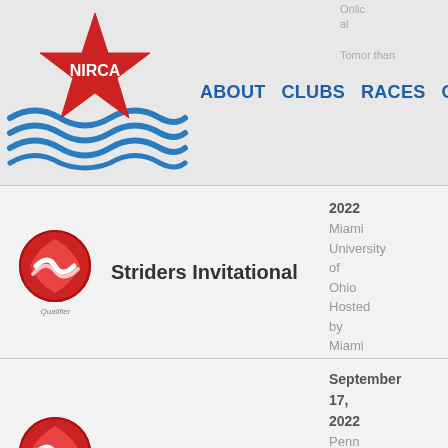NIRCA — ABOUT  CLUBS  RACES  CHAMPIONSHIPS
Striders Invitational — Qualifier — 2022 Miami University of Ohio Hosted by Miami Striders
Nittany Lion Invitational — Qualifier — September 17, 2022 Penn State Intramural Fields, University Park, PA 16802 Hosted by Penn State